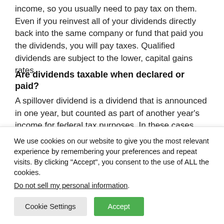income, so you usually need to pay tax on them. Even if you reinvest all of your dividends directly back into the same company or fund that paid you the dividends, you will pay taxes. Qualified dividends are subject to the lower, capital gains rates.
Are dividends taxable when declared or paid?
A spillover dividend is a dividend that is announced in one year, but counted as part of another year's income for federal tax purposes. In these cases, the dividend is...
We use cookies on our website to give you the most relevant experience by remembering your preferences and repeat visits. By clicking “Accept”, you consent to the use of ALL the cookies.
Do not sell my personal information.